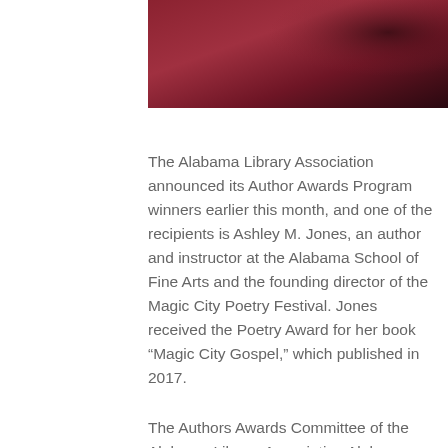[Figure (photo): Partial dark reddish-brown photo image at top of page]
The Alabama Library Association announced its Author Awards Program winners earlier this month, and one of the recipients is Ashley M. Jones, an author and instructor at the Alabama School of Fine Arts and the founding director of the Magic City Poetry Festival. Jones received the Poetry Award for her book “Magic City Gospel,” which published in 2017.
The Authors Awards Committee of the Alabama Library Association Alabama seeks to promote interest in local